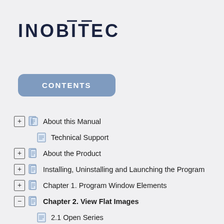[Figure (logo): INOBITEC company logo in dark navy uppercase letters with geometric styling]
CONTENTS
About this Manual
Technical Support
About the Product
Installing, Uninstalling and Launching the Program
Chapter 1. Program Window Elements
Chapter 2. View Flat Images
2.1 Open Series